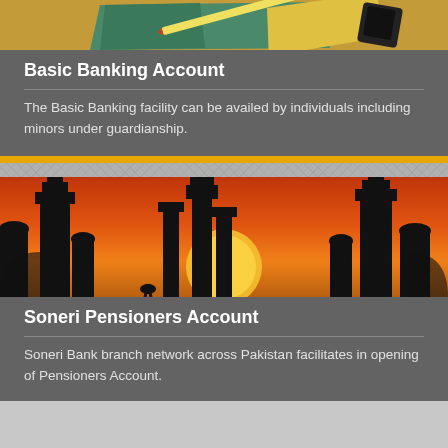[Figure (photo): Top portion of a card showing stationery/school supplies on a corkboard background]
Basic Banking Account
The Basic Banking facility can be availed by individuals including minors under guardianship.
[Figure (photo): Mosque minarets silhouetted against an orange sunset sky]
Soneri Pensioners Account
Soneri Bank branch network across Pakistan facilitates in opening of Pensioners Account.